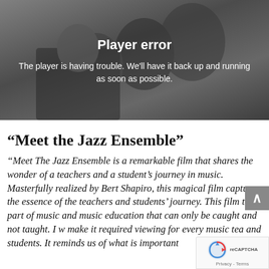[Figure (screenshot): Video player showing students, with a 'Player error' overlay message on a dark background]
“Meet the Jazz Ensemble”
“Meet The Jazz Ensemble is a remarkable film that shares the wonder of a teachers and a student’s journey in music. Masterfully realized by Bert Shapiro, this magical film captures the essence of the teachers and students’ journey. This film that part of music and music education that can only be caught and not taught. I w... make it required viewing for every music tea... and students. It reminds us of what is important